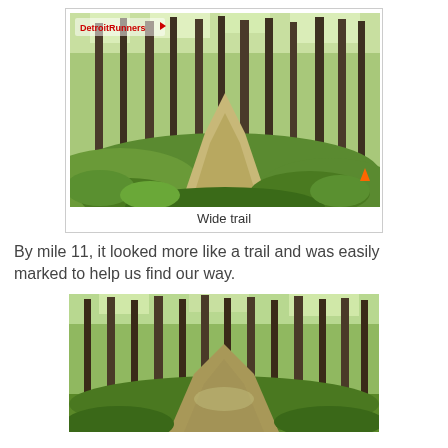[Figure (photo): A wide forest trail with tall trees, green foliage, and dappled sunlight. A small watermark reading 'DetroitRunners' with a red running figure is visible in the upper left. An orange marker cone is visible near the lower right. The trail is wide and grassy.]
Wide trail
By mile 11, it looked more like a trail and was easily marked to help us find our way.
[Figure (photo): A forest trail scene with tall trees and green undergrowth. The trail appears narrower and more defined than the first photo, with green grass and leaf litter on the ground.]